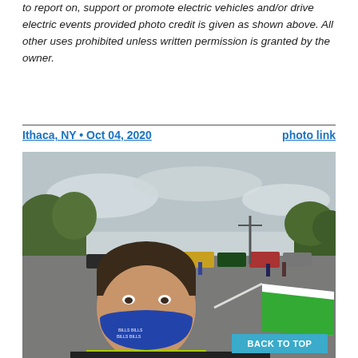to report on, support or promote electric vehicles and/or drive electric events provided photo credit is given as shown above. All other uses prohibited unless written permission is granted by the owner.
Ithaca, NY • Oct 04, 2020
photo link
[Figure (photo): Outdoor electric vehicle event in a parking lot. A man in the foreground wears a blue face mask with 'BILLS' text and a yellow-green shirt, holding a white and green flag with 'EL' visible. Behind him is a parking lot with multiple cars with hoods/trunks open, trees, utility poles, and an overcast sky.]
BACK TO TOP